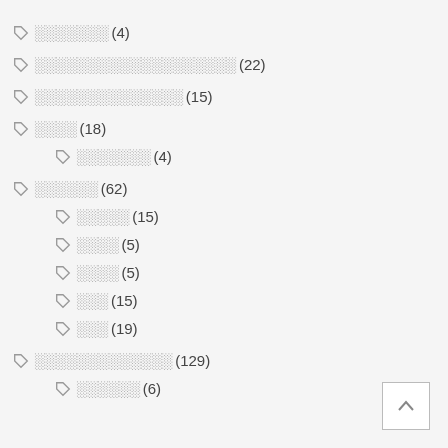▷ ░░░░░░░ (4)
▷ ░░░░░░░░░░░░░░░░░░░ (22)
▷ ░░░░░░░░░░░░░░ (15)
▷ ░░░░ (18)
▷ ░░░░░░░ (4)
▷ ░░░░░░ (62)
▷ ░░░░░ (15)
▷ ░░░░ (5)
▷ ░░░░ (5)
▷ ░░░ (15)
▷ ░░░ (19)
▷ ░░░░░░░░░░░░░ (129)
▷ ░░░░░░ (6)